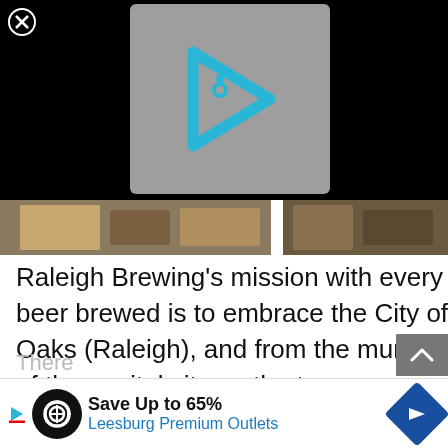[Figure (screenshot): Black background with a gray video overlay thumbnail showing a cyan play button icon with the letter i inside, and a close (X) button in the top left corner]
[Figure (photo): Two side-by-side photos at top of content area showing people and wooden surfaces at what appears to be a brewery taproom]
Raleigh Brewing’s mission with every beer brewed is to embrace the City of Oaks (Raleigh), and from the murals of the capital city on the taproom walls, to their beer names and their involvement with local community organizations and nonprofits, this is what they do.
[Figure (screenshot): Advertisement bar for Leesburg Premium Outlets showing a circular logo, Save Up to 65% text, and a blue diamond navigation arrow]
There